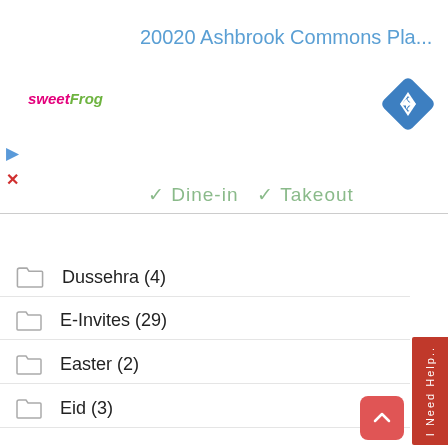20020 Ashbrook Commons Pla...
[Figure (logo): sweetFrog logo]
[Figure (other): Blue diamond navigation arrow icon]
✓ Dine-in  ✓ Takeout
Dussehra (4)
E-Invites (29)
Easter (2)
Eid (3)
Event Management Tips (23)
Event Photo Galleries (2)
Event Planning Tips (61)
Event Planning Tips & Ideas (209)
Farewell Party (5)
Fathers Day (5)
Festivals (56)